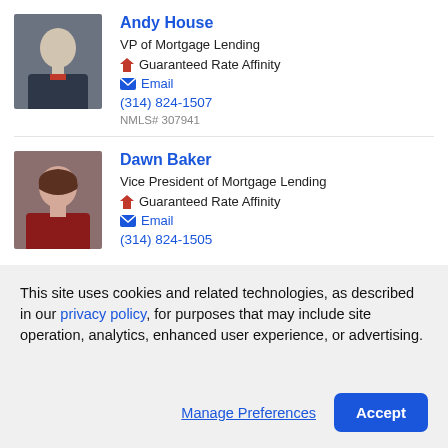[Figure (photo): Professional headshot of Andy House, a man in a dark suit and red tie, smiling, seated pose against dark background]
Andy House
VP of Mortgage Lending
Guaranteed Rate Affinity
Email
(314) 824-1507
NMLS# 307941
[Figure (photo): Professional headshot of Dawn Baker, a woman with shoulder-length brown hair wearing a red jacket, smiling]
Dawn Baker
Vice President of Mortgage Lending
Guaranteed Rate Affinity
Email
(314) 824-1505
This site uses cookies and related technologies, as described in our privacy policy, for purposes that may include site operation, analytics, enhanced user experience, or advertising.
Manage Preferences
Accept